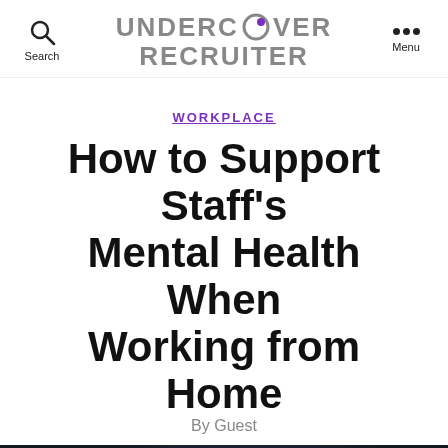UNDERCOVER RECRUITER
WORKPLACE
How to Support Staff’s Mental Health When Working from Home
By Guest
[Figure (photo): Person with head in hands, dark moody background, bottom portion of image visible]